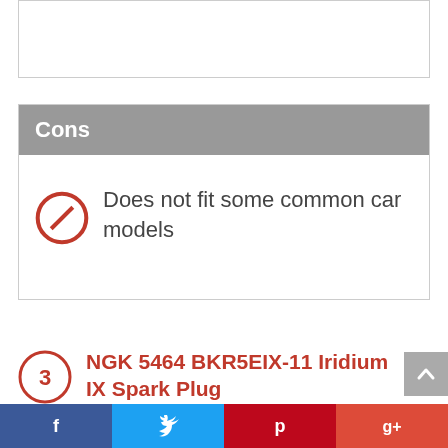[Figure (other): Empty white box with border (top of page, partial view of previous section)]
Cons
Does not fit some common car models
3 NGK 5464 BKR5EIX-11 Iridium IX Spark Plug
This is one of the best options that you can get on the market right now as it is designed to deliver on